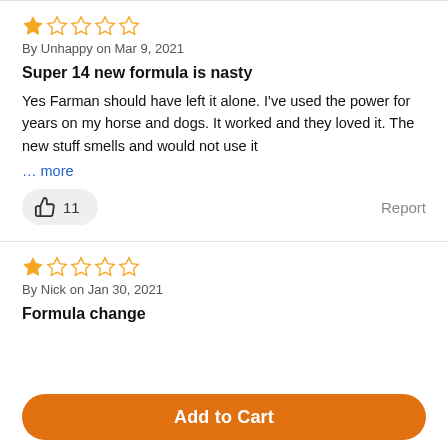★☆☆☆☆ By Unhappy on Mar 9, 2021
Super 14 new formula is nasty
Yes Farman should have left it alone. I've used the power for years on my horse and dogs. It worked and they loved it. The new stuff smells and would not use it
... more
👍 11   Report
★☆☆☆☆ By Nick on Jan 30, 2021
Formula change
Add to Cart